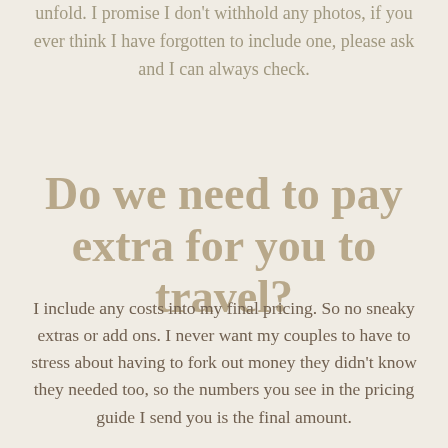unfold. I promise I don't withhold any photos, if you ever think I have forgotten to include one, please ask and I can always check.
Do we need to pay extra for you to travel?
I include any costs into my final pricing. So no sneaky extras or add ons. I never want my couples to have to stress about having to fork out money they didn't know they needed too, so the numbers you see in the pricing guide I send you is the final amount.